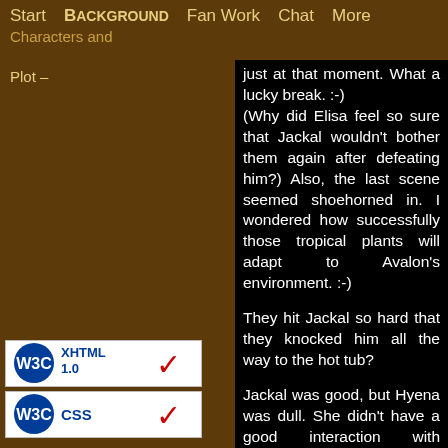Start  Background  Fan Work  Chat  More
Characters and Plot –
just at that moment. What a lucky break. :-) (Why did Elisa feel so sure that Jackal wouldn't bother them again after defeating him?) Also, the last scene seemed shoehorned in. I wondered how successfully those tropical plants will adapt to Avalon's environment. :-)
They hit Jackal so hard that they knocked him all the way to the hot tub?
Jackal was good, but Hyena was dull. She didn't have a good interaction with Lexington and Broadway during the fight scene, and that, too, made that sequence boring. And I'm getting fed up with her having new abilities in every episode. (Now she can retract her head into her torso.)
[Figure (logo): W3C XHTML 1.0 validation badge]
[Figure (logo): W3C CSS validation badge]
Why didn't they put Hyena in restraints in case she woke up before the police find her? The police were remarkably casual when they arrested her. Did the precinct